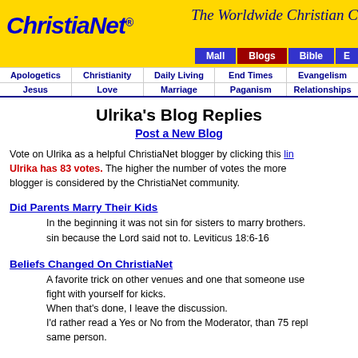[Figure (logo): ChristiaNet logo with yellow background and blue italic text, registered trademark symbol]
The Worldwide Christian C...
Mall | Blogs | Bible | E...
Apologetics | Christianity | Daily Living | End Times | Evangelism
Jesus | Love | Marriage | Paganism | Relationships
Ulrika's Blog Replies
Post a New Blog
Vote on Ulrika as a helpful ChristiaNet blogger by clicking this lin... Ulrika has 83 votes. The higher the number of votes the more... blogger is considered by the ChristiaNet community.
Did Parents Marry Their Kids
In the beginning it was not sin for sisters to marry brothers. sin because the Lord said not to. Leviticus 18:6-16
Beliefs Changed On ChristiaNet
A favorite trick on other venues and one that someone use... fight with yourself for kicks.
When that's done, I leave the discussion.
I'd rather read a Yes or No from the Moderator, than 75 repl... same person.